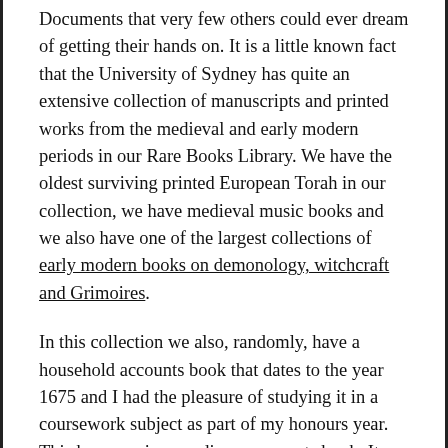Documents that very few others could ever dream of getting their hands on. It is a little known fact that the University of Sydney has quite an extensive collection of manuscripts and printed works from the medieval and early modern periods in our Rare Books Library. We have the oldest surviving printed European Torah in our collection, we have medieval music books and we also have one of the largest collections of early modern books on demonology, witchcraft and Grimoires.
In this collection we also, randomly, have a household accounts book that dates to the year 1675 and I had the pleasure of studying it in a coursework subject as part of my honours year. This however is no ordinary accounts book. It was an accounts book that belonged to a very well well known English Countess of the Elizabethan and Jacobean eras, Lady Anne Clifford, Countess of Dorset,